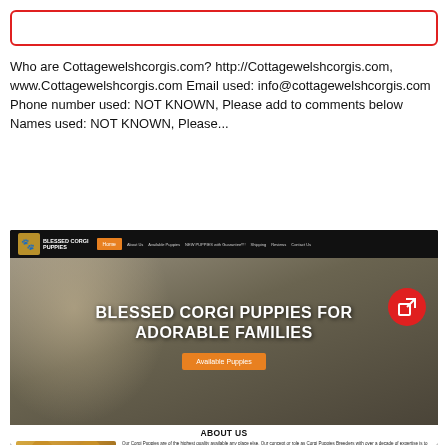Who are Cottagewelshcorgis.com? http://Cottagewelshcorgis.com, www.Cottagewelshcorgis.com Email used: info@cottagewelshcorgis.com Phone number used: NOT KNOWN, Please add to comments below Names used: NOT KNOWN, Please...
[Figure (screenshot): Screenshot of a website for 'Blessed Corgi Puppies' with a dark navigation bar at the top, a hero image showing a corgi puppy lying down with overlaid text 'BLESSED CORGI PUPPIES FOR ADORABLE FAMILIES' and an orange 'Available Puppies' button. Below the hero is an 'ABOUT US' section with a photo of a corgi puppy on the left and descriptive text on the right. A red circular external link button appears in the upper right of the screenshot.]